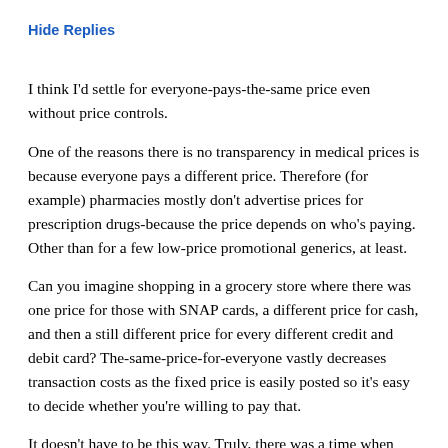Hide Replies
I think I'd settle for everyone-pays-the-same price even without price controls.
One of the reasons there is no transparency in medical prices is because everyone pays a different price. Therefore (for example) pharmacies mostly don't advertise prices for prescription drugs-because the price depends on who's paying. Other than for a few low-price promotional generics, at least.
Can you imagine shopping in a grocery store where there was one price for those with SNAP cards, a different price for cash, and then a still different price for every different credit and debit card? The-same-price-for-everyone vastly decreases transaction costs as the fixed price is easily posted so it's easy to decide whether you're willing to pay that.
It doesn't have to be this way. Truly, there was a time when one could call a physician's office and be told the price of an office visit. Or a drugstore and be told the price of a prescription drug.